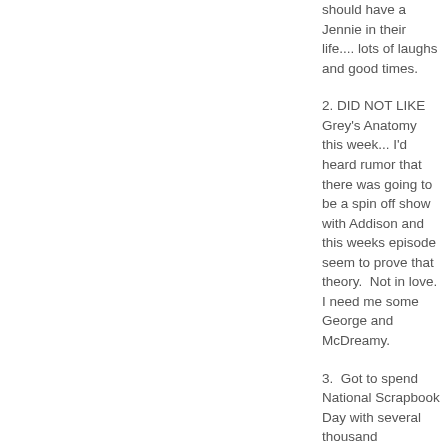should have a Jennie in their life.... lots of laughs and good times.
2. DID NOT LIKE Grey's Anatomy this week... I'd heard rumor that there was going to be a spin off show with Addison and this weeks episode seem to prove that theory.  Not in love.  I need me some George and McDreamy.
3.  Got to spend National Scrapbook Day with several thousand scrapbookers.